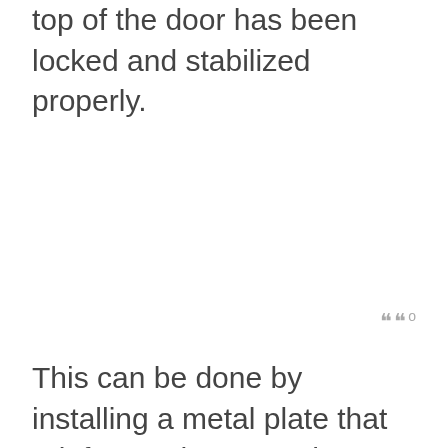top of the door has been locked and stabilized properly.
This can be done by installing a metal plate that reinforces the area where the